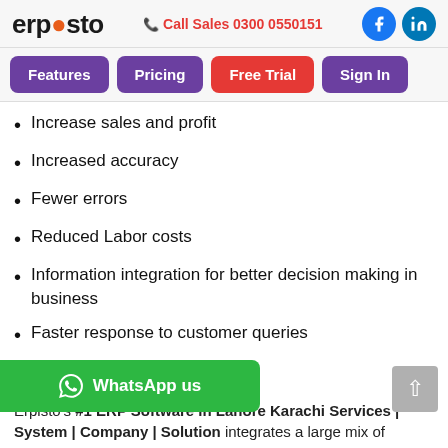ERPOSTO | Call Sales 0300 0550151
Features | Pricing | Free Trial | Sign In
Increase sales and profit
Increased accuracy
Fewer errors
Reduced Labor costs
Information integration for better decision making in business
Faster response to customer queries
Customer satisfaction
Erpisto's #1 ERP Software in Lahore Karachi Services | System | Company | Solution integrates a large mix of